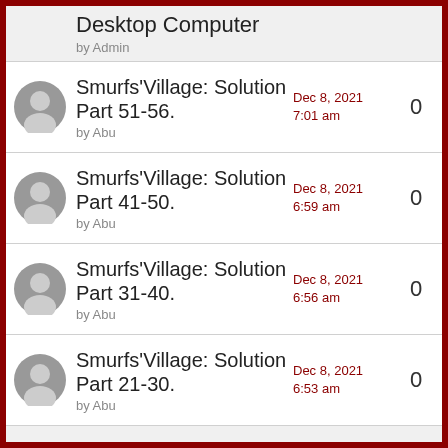Desktop Computer
by Admin
Smurfs'Village: Solution Part 51-56.
by Abu
Dec 8, 2021 7:01 am
0
Smurfs'Village: Solution Part 41-50.
by Abu
Dec 8, 2021 6:59 am
0
Smurfs'Village: Solution Part 31-40.
by Abu
Dec 8, 2021 6:56 am
0
Smurfs'Village: Solution Part 21-30.
by Abu
Dec 8, 2021 6:53 am
0